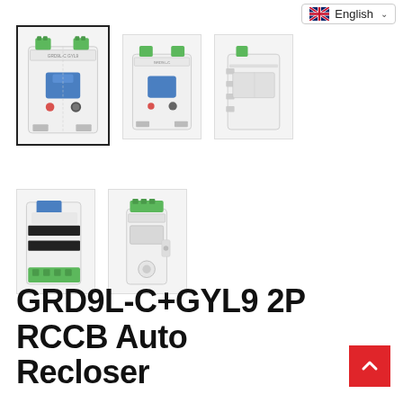[Figure (screenshot): Language selector showing UK flag and 'English' with dropdown chevron]
[Figure (photo): Thumbnail 1 (selected/highlighted): GRD9L-C+GYL9 2P RCCB Auto Recloser - front view, white device with green terminal block on top, blue toggle switch, circular test button]
[Figure (photo): Thumbnail 2: GRD9L-C+GYL9 2P RCCB Auto Recloser - slightly angled front view]
[Figure (photo): Thumbnail 3: GRD9L-C+GYL9 2P RCCB - side/back view, white device with green terminal on top]
[Figure (photo): Thumbnail 4: GRD9L-C+GYL9 - partial left-side view with blue handle and green terminal block at bottom]
[Figure (photo): Thumbnail 5: GYL9 Auto Recloser module - standalone single-width DIN rail device with green top terminal]
GRD9L-C+GYL9 2P RCCB Auto Recloser